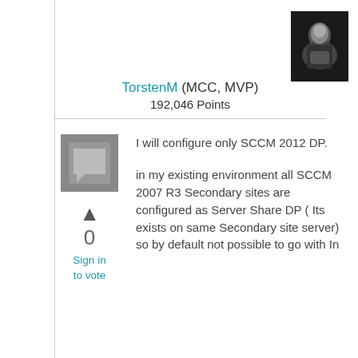[Figure (photo): User avatar photo of TorstenM - dark background with a figure]
TorstenM (MCC, MVP)
192,046 Points
[Figure (other): Comment/reply icon - grey square with speech bubble]
▲
0
Sign in
to vote
I will configure only SCCM 2012 DP.
in my existing environment all SCCM 2007 R3 Secondary sites are configured as Server Share DP ( Its exists on same Secondary site server) so by default not possible to go with In